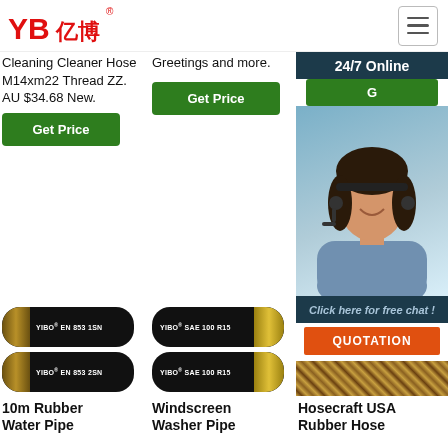YB亿博® [logo] [hamburger menu]
Cleaning Cleaner Hose M14xm22 Thread ZZ. AU $34.68 New.
Greetings and more.
G [Get Price button - right column]
24/7 Online
Get Price
Get Price
Click here for free chat !
QUOTATION
[Figure (photo): Two rubber hydraulic hoses labeled YIBO EN 853 1SN and YIBO EN 853 2SN on black background]
[Figure (photo): Two hydraulic hoses labeled YIBO SAE 100 R15 with gold ends on black background]
[Figure (photo): Woven braided rubber hose closeup with orange TOP label]
[Figure (photo): Female customer service agent with headset, smiling, 24/7 online chat widget]
10m Rubber Water Pipe
Windscreen Washer Pipe
Hosecraft USA Rubber Hose